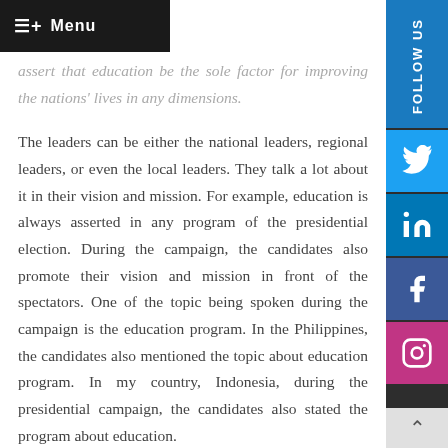Menu
assert that education be the sole factor for improving the nations' lives in any dimensions.

The leaders can be either the national leaders, regional leaders, or even the local leaders. They talk a lot about it in their vision and mission. For example, education is always asserted in any program of the presidential election. During the campaign, the candidates also promote their vision and mission in front of the spectators. One of the topic being spoken during the campaign is the education program. In the Philippines, the candidates also mentioned the topic about education program. In my country, Indonesia, during the presidential campaign, the candidates also stated the program about education.